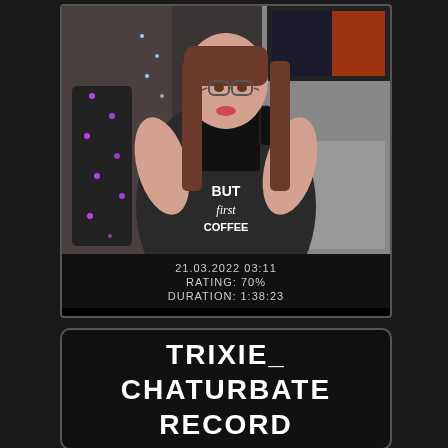[Figure (photo): A person wearing glasses and a dark t-shirt reading 'BUT first COFFEE', holding a black mug up to their mouth. Background shows fairy lights and a room setting. Below the photo: date 21.03.2022 03:11, RATING: 70%, DURATION: 1:38:23]
TRIXIE_
CHATURBATE
RECORD